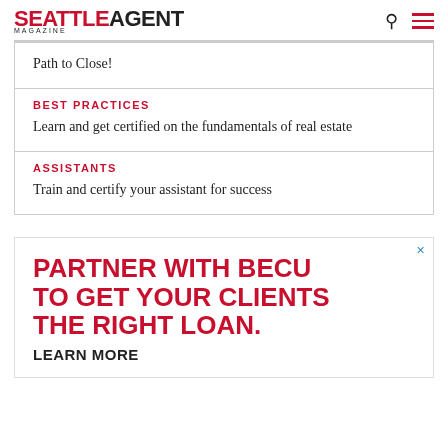SEATTLE AGENT MAGAZINE
Path to Close!
BEST PRACTICES
Learn and get certified on the fundamentals of real estate
ASSISTANTS
Train and certify your assistant for success
[Figure (infographic): Advertisement: PARTNER WITH BECU TO GET YOUR CLIENTS THE RIGHT LOAN. LEARN MORE]
PARTNER WITH BECU TO GET YOUR CLIENTS THE RIGHT LOAN. LEARN MORE